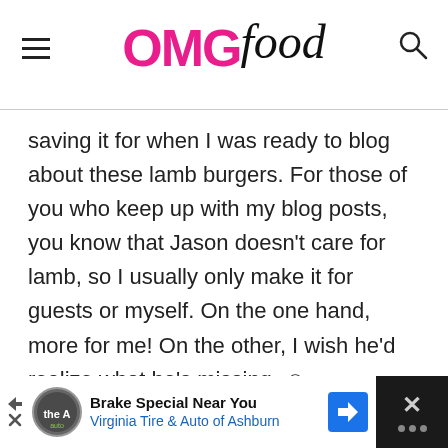OMGfood
saving it for when I was ready to blog about these lamb burgers. For those of you who keep up with my blog posts, you know that Jason doesn't care for lamb, so I usually only make it for guests or myself. On the one hand, more for me! On the other, I wish he'd realize what he's missing. ☺
[Figure (screenshot): Advertisement banner: Brake Special Near You - Virginia Tire & Auto of Ashburn]